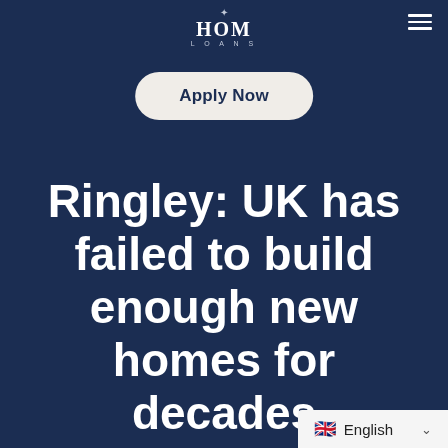[Figure (logo): HOM LOANS logo with diamond/compass icon above text, white serif lettering on dark navy background]
Apply Now
Ringley: UK has failed to build enough new homes for decades
English